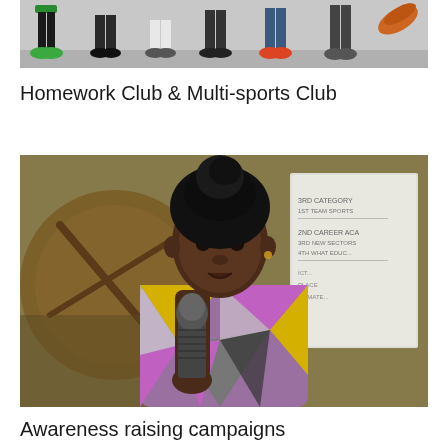[Figure (photo): Cropped photo showing the lower legs and feet/shoes of several people standing on a running track or sports surface, viewed from below waist level.]
Homework Club & Multi-sports Club
[Figure (photo): A young woman speaking into a microphone at what appears to be a community or awareness event. She is wearing a colorful geometric-patterned top (pink, yellow, grey, white). Behind her is a wall with a large brown circular wooden element and a whiteboard with writing. She appears to be giving a speech or presentation.]
Awareness raising campaigns